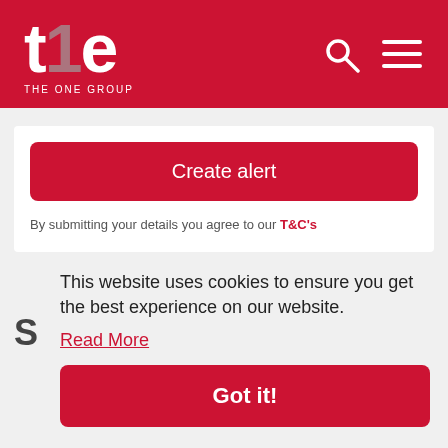[Figure (logo): The One Group logo — stylized 'the' text in white with a grey '1' forming the h, with 'THE ONE GROUP' subtitle, on red background, with search and hamburger menu icons]
[Figure (screenshot): Red 'Create alert' button]
By submitting your details you agree to our T&C's
This website uses cookies to ensure you get the best experience on our website.
Read More
[Figure (screenshot): Red 'Got it!' button]